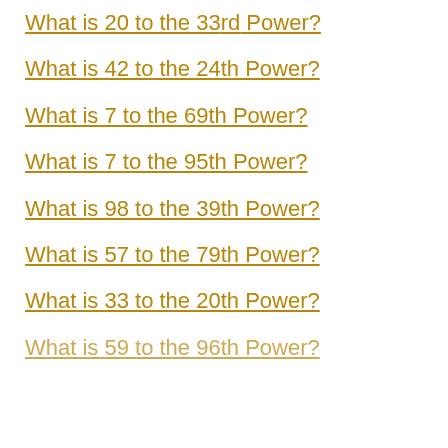What is 20 to the 33rd Power?
What is 42 to the 24th Power?
What is 7 to the 69th Power?
What is 7 to the 95th Power?
What is 98 to the 39th Power?
What is 57 to the 79th Power?
What is 33 to the 20th Power?
What is 59 to the 96th Power?